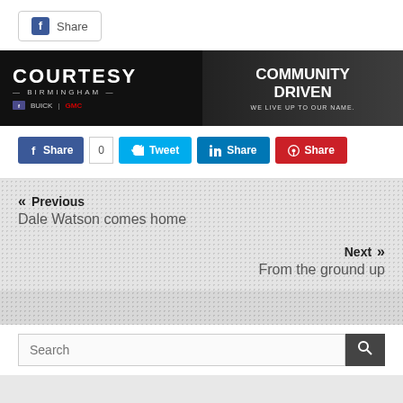[Figure (screenshot): Facebook Share button with 'f' icon and 'Share' text, bordered rounded rectangle style]
[Figure (photo): Courtesy Birmingham Buick GMC advertisement banner with dark background, car interior image on right side. Left side: COURTESY in large letters, -BIRMINGHAM- subtitle, Buick|GMC logos. Right side: COMMUNITY DRIVEN text, WE LIVE UP TO OUR NAME subtext.]
[Figure (screenshot): Social media sharing buttons row: Facebook Share (blue, count 0), Tweet (cyan), LinkedIn Share (blue), Pinterest Share (red)]
« Previous
Dale Watson comes home
Next »
From the ground up
[Figure (screenshot): Search input box with placeholder text 'Search' and a dark search button on the right]